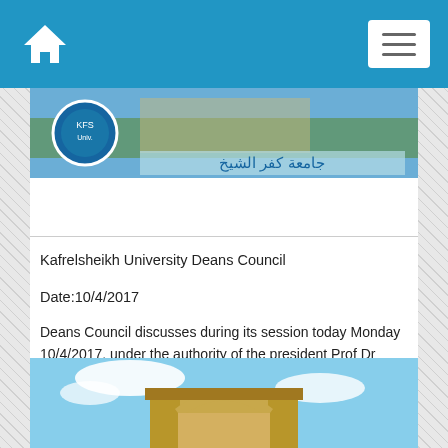Navigation bar with home icon and menu button
[Figure (photo): Kafrelsheikh University banner image with Arabic text and university logo]
Kafrelsheikh University Deans Council
Date:10/4/2017
Deans Council discusses during its session today Monday 10/4/2017, under the authority of the president Prof Dr Maged el Kemary, periodic plan to secure the university through
Details
[Figure (photo): University building with arch gate against blue sky]